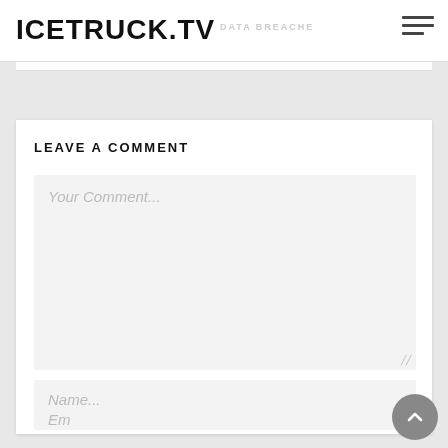ICETRUCK.TV
LEAVE A COMMENT
Your Comment...
Name...
Email...